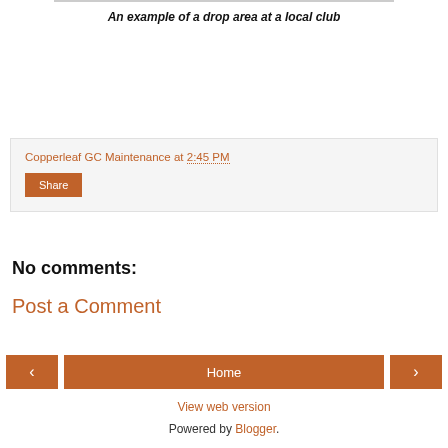An example of a drop area at a local club
Copperleaf GC Maintenance at 2:45 PM
Share
No comments:
Post a Comment
‹
Home
›
View web version
Powered by Blogger.